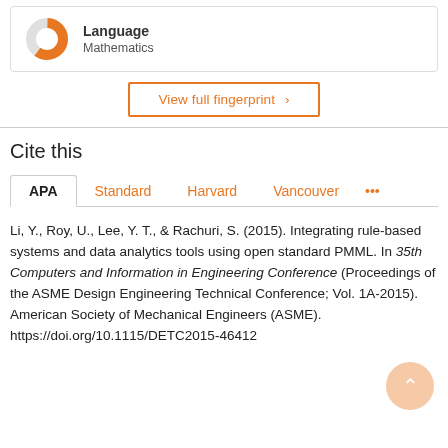[Figure (donut-chart): Donut chart showing Language / Mathematics fingerprint metric, approximately 60% filled in orange]
Language
Mathematics
View full fingerprint >
Cite this
APA | Standard | Harvard | Vancouver | ...
Li, Y., Roy, U., Lee, Y. T., & Rachuri, S. (2015). Integrating rule-based systems and data analytics tools using open standard PMML. In 35th Computers and Information in Engineering Conference (Proceedings of the ASME Design Engineering Technical Conference; Vol. 1A-2015). American Society of Mechanical Engineers (ASME).
https://doi.org/10.1115/DETC2015-46412